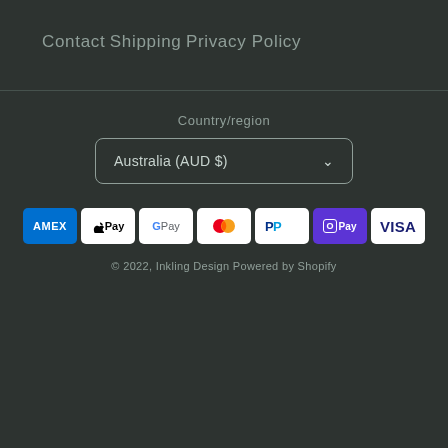Contact
Shipping
Privacy Policy
Country/region
Australia (AUD $)
[Figure (logo): Payment method icons: AMEX, Apple Pay, Google Pay, Mastercard, PayPal, Shop Pay, Visa]
© 2022, Inkling Design Powered by Shopify